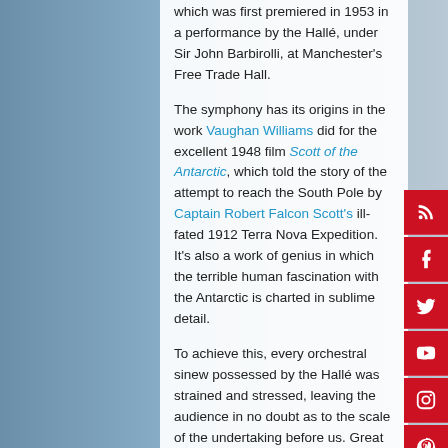which was first premiered in 1953 in a performance by the Hallé, under Sir John Barbirolli, at Manchester's Free Trade Hall.
The symphony has its origins in the work Vaughan Williams did for the excellent 1948 film Scott of the Antarctic, which told the story of the attempt to reach the South Pole by Captain Robert Falcon Scott's ill-fated 1912 Terra Nova Expedition. It's also a work of genius in which the terrible human fascination with the Antarctic is charted in sublime detail.
To achieve this, every orchestral sinew possessed by the Hallé was strained and stressed, leaving the audience in no doubt as to the scale of the undertaking before us. Great and terrible vistas were revealed by the brass section, and the clash of percussion symbolised the collision of vast ice sheets, splintering into endless debris fields that could only be crossed